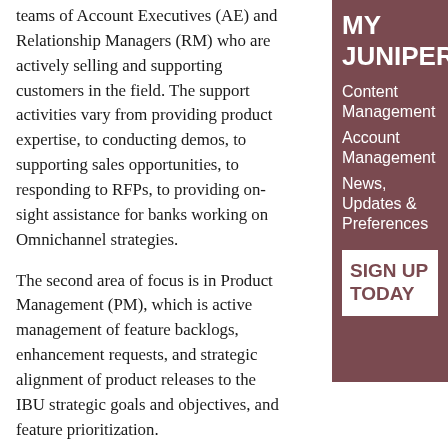teams of Account Executives (AE) and Relationship Managers (RM) who are actively selling and supporting customers in the field. The support activities vary from providing product expertise, to conducting demos, to supporting sales opportunities, to responding to RFPs, to providing on-sight assistance for banks working on Omnichannel strategies.
The second area of focus is in Product Management (PM), which is active management of feature backlogs, enhancement requests, and strategic alignment of product releases to the IBU strategic goals and objectives, and feature prioritization.
MY JUNIPER
Content Management
Account Management
News, Updates & Preferences
SIGN UP TODAY